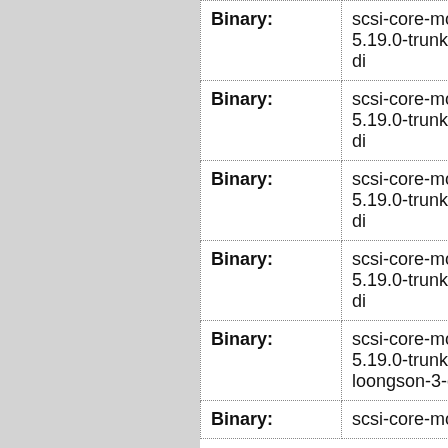| Type | Package | Status |
| --- | --- | --- |
| Binary: | scsi-core-modules-5.19.0-trunk-amd64-di | unb |
| Binary: | scsi-core-modules-5.19.0-trunk-arm64-di | unb |
| Binary: | scsi-core-modules-5.19.0-trunk-armmp-di | unb |
| Binary: | scsi-core-modules-5.19.0-trunk-itanium-di | unb |
| Binary: | scsi-core-modules-5.19.0-trunk-loongson-3-di | unb |
| Binary: | scsi-core-modules- | unb |